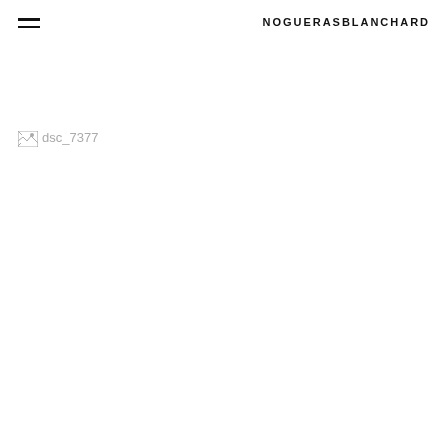NOGUERASBLANCHARD
[Figure (photo): Broken image placeholder with alt text 'dsc_7377']